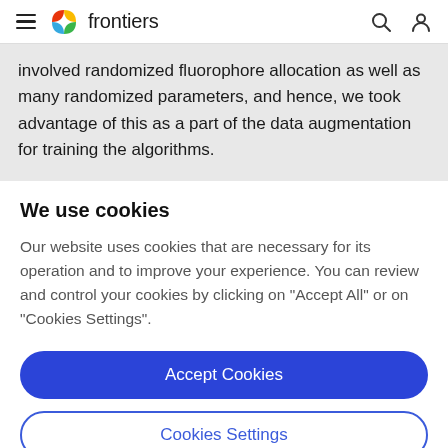frontiers
involved randomized fluorophore allocation as well as many randomized parameters, and hence, we took advantage of this as a part of the data augmentation for training the algorithms.
We use cookies
Our website uses cookies that are necessary for its operation and to improve your experience. You can review and control your cookies by clicking on "Accept All" or on "Cookies Settings".
Accept Cookies
Cookies Settings